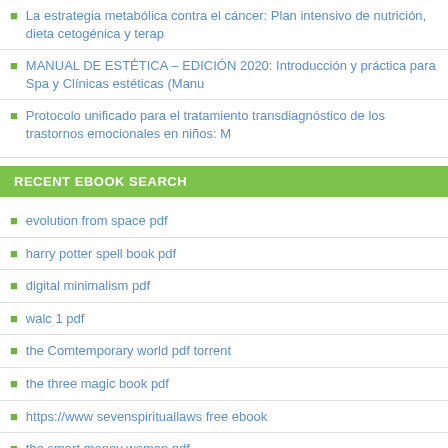La estrategia metabólica contra el cáncer: Plan intensivo de nutrición, dieta cetogénica y terap
MANUAL DE ESTÉTICA – EDICIÓN 2020: Introducción y práctica para Spa y Clínicas estéticas (Manu
Protocolo unificado para el tratamiento transdiagnóstico de los trastornos emocionales en niños: M
RECENT EBOOK SEARCH
evolution from space pdf
harry potter spell book pdf
digital minimalism pdf
walc 1 pdf
the Comtemporary world pdf torrent
the three magic book pdf
https://www sevenspirituallaws free ebook
the smart money woman pdf
multivariate data analysis/ pdfdrive
supply chain management book pdf
POPULAR SEARCH TERMS